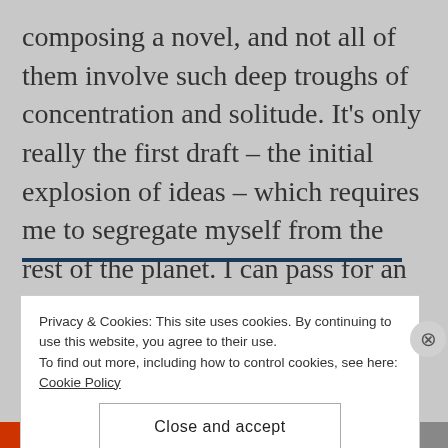composing a novel, and not all of them involve such deep troughs of concentration and solitude. It's only really the first draft – the initial explosion of ideas – which requires me to segregate myself from the rest of the planet. I can pass for an almost decent human being during the editing stages, as the creative requirements are not quite so intense.
Privacy & Cookies: This site uses cookies. By continuing to use this website, you agree to their use.
To find out more, including how to control cookies, see here: Cookie Policy
Close and accept